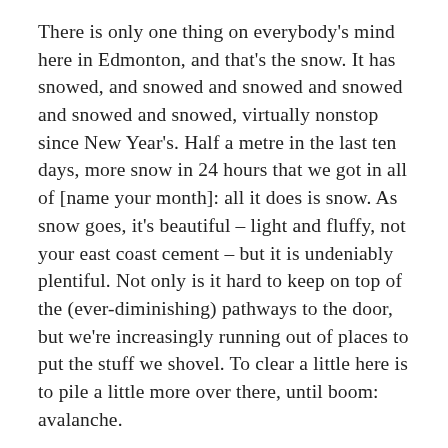There is only one thing on everybody's mind here in Edmonton, and that's the snow. It has snowed, and snowed and snowed and snowed and snowed and snowed, virtually nonstop since New Year's. Half a metre in the last ten days, more snow in 24 hours that we got in all of [name your month]: all it does is snow. As snow goes, it's beautiful – light and fluffy, not your east coast cement – but it is undeniably plentiful. Not only is it hard to keep on top of the (ever-diminishing) pathways to the door, but we're increasingly running out of places to put the stuff we shovel. To clear a little here is to pile a little more over there, until boom: avalanche.
Am I the only one who feels like this is a heavy-handed metaphor? We're snowed under